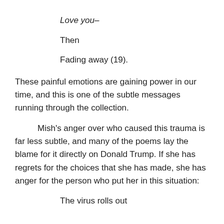Love you–
Then
Fading away (19).
These painful emotions are gaining power in our time, and this is one of the subtle messages running through the collection.
Mish's anger over who caused this trauma is far less subtle, and many of the poems lay the blame for it directly on Donald Trump. If she has regrets for the choices that she has made, she has anger for the person who put her in this situation:
The virus rolls out